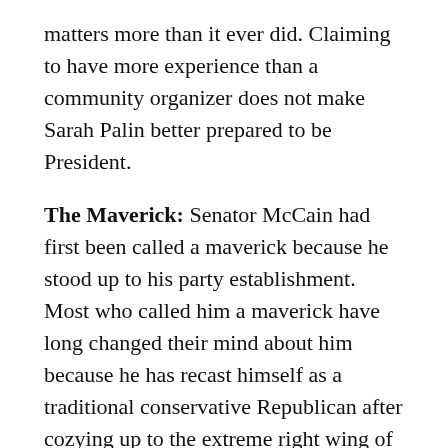matters more than it ever did. Claiming to have more experience than a community organizer does not make Sarah Palin better prepared to be President.
The Maverick: Senator McCain had first been called a maverick because he stood up to his party establishment. Most who called him a maverick have long changed their mind about him because he has recast himself as a traditional conservative Republican after cozying up to the extreme right wing of his party. Ironically, he calls himself a maverick these days more than others do!
The Talk about Freedom: Republicans pride